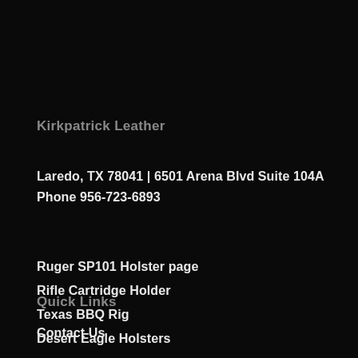Kirkpatrick Leather
Laredo, TX 78041 | 6501 Arena Blvd Suite 104A
Phone 956-723-6893
Ruger SP101 Holster page
Rifle Cartridge Holder
Texas BBQ Rig
Desert Eagle Holsters
Quick Links
Contact Us